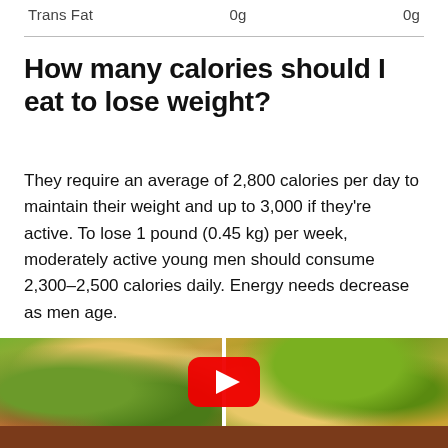|  |  |  |
| --- | --- | --- |
| Trans Fat | 0g | 0g |
How many calories should I eat to lose weight?
They require an average of 2,800 calories per day to maintain their weight and up to 3,000 if they're active. To lose 1 pound (0.45 kg) per week, moderately active young men should consume 2,300–2,500 calories daily. Energy needs decrease as men age.
[Figure (photo): Two side-by-side food photos showing tacos with guacamole and toppings, with a YouTube play button overlay in the center.]